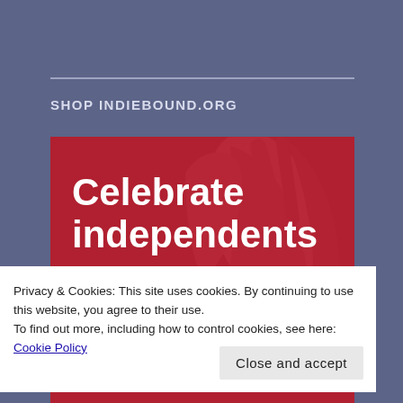SHOP INDIEBOUND.ORG
[Figure (illustration): Red banner image with watermark graphic showing text 'Celebrate independents' in bold white on a dark red background with decorative book/hand graphic watermark]
Privacy & Cookies: This site uses cookies. By continuing to use this website, you agree to their use.
To find out more, including how to control cookies, see here: Cookie Policy
Close and accept